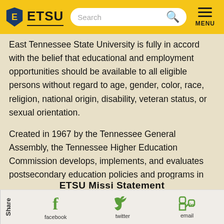ETSU navigation bar with logo, search, and menu
East Tennessee State University is fully in accord with the belief that educational and employment opportunities should be available to all eligible persons without regard to age, gender, color, race, religion, national origin, disability, veteran status, or sexual orientation.
Created in 1967 by the Tennessee General Assembly, the Tennessee Higher Education Commission develops, implements, and evaluates postsecondary education policies and programs in Tennessee while coordinating the state's systems of higher education.
Share | facebook | twitter | email